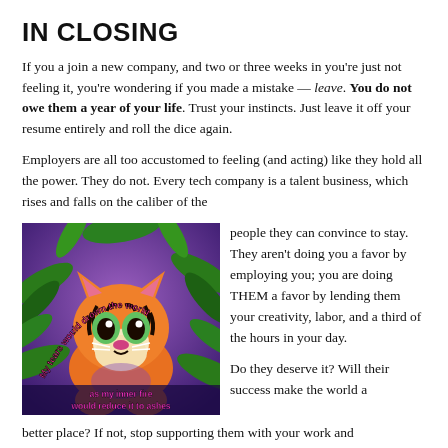IN CLOSING
If you a join a new company, and two or three weeks in you're just not feeling it, you're wondering if you made a mistake — leave. You do not owe them a year of your life. Trust your instincts. Just leave it off your resume entirely and roll the dice again.
Employers are all too accustomed to feeling (and acting) like they hold all the power. They do not. Every tech company is a talent business, which rises and falls on the caliber of the people they can convince to stay. They aren't doing you a favor by employing you; you are doing THEM a favor by lending them your creativity, labor, and a third of the hours in your day.
[Figure (illustration): Colorful Lisa Frank-style illustration of a baby tiger cub with text 'My tears would drown the world' and 'as my inner fire would reduce it to ashes']
Do they deserve it? Will their success make the world a better place? If not, stop supporting them with your work and